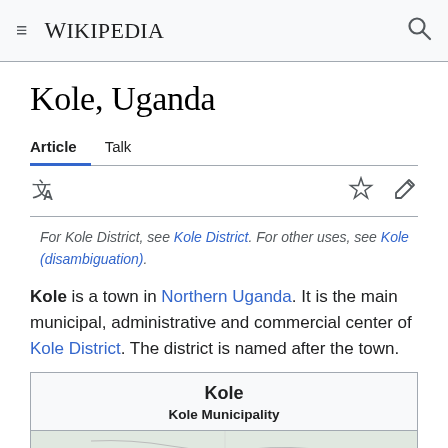Wikipedia
Kole, Uganda
Article  Talk
For Kole District, see Kole District. For other uses, see Kole (disambiguation).
Kole is a town in Northern Uganda. It is the main municipal, administrative and commercial center of Kole District. The district is named after the town.
| Kole |
| Kole Municipality |